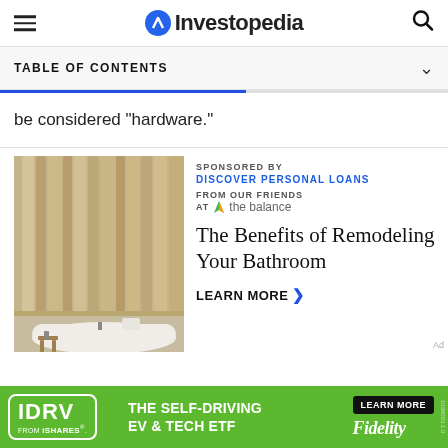Investopedia
TABLE OF CONTENTS
be considered "hardware."
[Figure (photo): Bathroom interior with wooden slat wall and freestanding white bathtub]
SPONSORED BY
DISCOVER PERSONAL LOANS
FROM OUR FRIENDS AT the balance
The Benefits of Remodeling Your Bathroom
LEARN MORE
[Figure (infographic): Bottom banner ad: IDRV FROM iSHARES - THE SELF-DRIVING EV & TECH ETF - LEARN MORE - Fidelity]